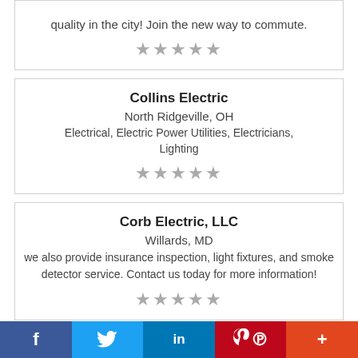quality in the city! Join the new way to commute.
★★★★★
Collins Electric
North Ridgeville, OH
Electrical, Electric Power Utilities, Electricians, Lighting
★★★★★
Corb Electric, LLC
Willards, MD
we also provide insurance inspection, light fixtures, and smoke detector service. Contact us today for more information!
★★★★★
f  Twitter  in  P  +